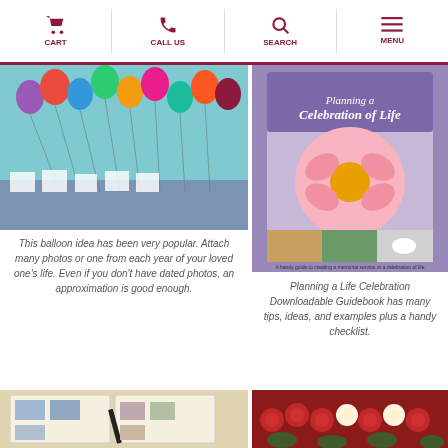CART | CALL US | SEARCH | MENU
Life.
[Figure (photo): Room interior with colorful balloons floating on strings from ceiling, with photos clipped to the strings, above a table with more photos]
This balloon idea has been very popular. Attach many photos or one from each year of your loved one's life. Even if you don't have dated photos, an approximation is good enough.
[Figure (photo): Book cover: Planning a Celebration of Life, with a pink gerbera daisy and smaller images of a heart, forest, and dove]
Planning a Life Celebration Downloadable Guidebook has many tips, ideas, and examples plus a handy checklist.
[Figure (photo): Memory book or scrapbook open with photos and a pen]
[Figure (photo): Arrangement of red and white roses]